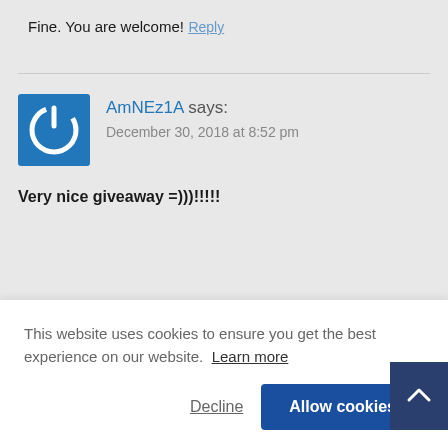Fine. You are welcome!
Reply
AmNEz1A says:
December 30, 2018 at 8:52 pm
Very nice giveaway =)))!!!!!
This website uses cookies to ensure you get the best experience on our website.  Learn more
Decline
Allow cookies
December 30, 2018 at 9:44 pm